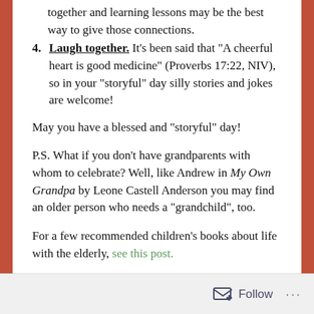together and learning lessons may be the best way to give those connections.
Laugh together. It’s been said that “A cheerful heart is good medicine” (Proverbs 17:22, NIV), so in your “storyful” day silly stories and jokes are welcome!
May you have a blessed and “storyful” day!
P.S. What if you don’t have grandparents with whom to celebrate? Well, like Andrew in My Own Grandpa by Leone Castell Anderson you may find an older person who needs a “grandchild”, too.
For a few recommended children’s books about life with the elderly, see this post.
Photo credit: Adobe Stock.
Follow